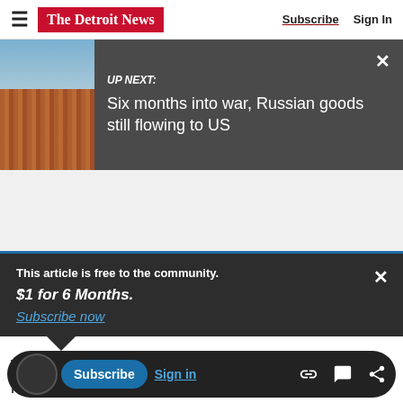The Detroit News — Subscribe | Sign In
[Figure (screenshot): Up Next banner with port/shipping container aerial photo and text: UP NEXT: Six months into war, Russian goods still flowing to US]
This article is free to the community. $1 for 6 Months. Subscribe now
who is from my list of 20, and who will be a true
respected, should get the votes from the